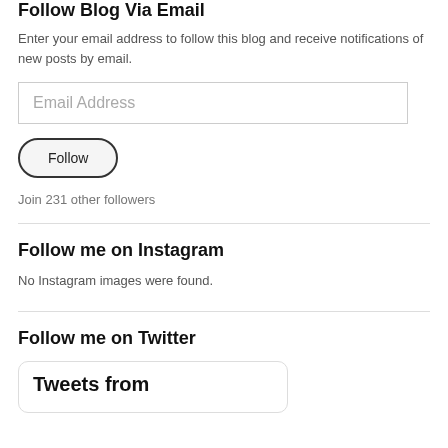Follow Blog Via Email
Enter your email address to follow this blog and receive notifications of new posts by email.
[Figure (other): Email address input field with placeholder text 'Email Address']
[Figure (other): Follow button with rounded pill shape border]
Join 231 other followers
Follow me on Instagram
No Instagram images were found.
Follow me on Twitter
[Figure (other): Twitter widget box showing 'Tweets from' text, partially clipped at bottom]